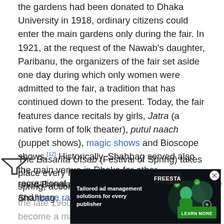the gardens had been donated to Dhaka University in 1918, ordinary citizens could enter the main gardens only during the fair. In 1921, at the request of the Nawab's daughter, Paribanu, the organizers of the fair set aside one day during which only women were admitted to the fair, a tradition that has continued down to the present. Today, the fair features dance recitals by girls, Jatra (a native form of folk theater), putul naach (puppet shows), magic shows and Bioscope shows.[12] Historically, Shahbag served also the main venue in Dhaka for other recreational sports like Boli Khela (wrestling) and horse racing.
The Basanta Utsab (Festival of Spring) takes place every February 14—the first day of spring, according to the reformed Bangladeshi Calendar. Originating in Shahbag in the late 1960s, Basanta Utsab has now become a major festival in Dhaka.[20] For many, it involves wearing yellow clothes (signifying...) of the many activities associated with the festival, which often also includes themes associated with Valentine's Day...
[Figure (other): Advertisement banner: Tailored ad management solutions for every publisher, with FREESTA logo and LEARN MORE button, dark background with illustrated graphic elements]